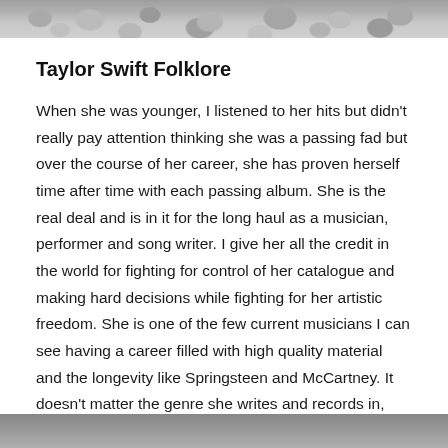[Figure (photo): Photograph of stones/pebbles, cropped at top of page]
Taylor Swift Folklore
When she was younger, I listened to her hits but didn't really pay attention thinking she was a passing fad but over the course of her career, she has proven herself time after time with each passing album. She is the real deal and is in it for the long haul as a musician, performer and song writer. I give her all the credit in the world for fighting for control of her catalogue and making hard decisions while fighting for her artistic freedom. She is one of the few current musicians I can see having a career filled with high quality material and the longevity like Springsteen and McCartney. It doesn't matter the genre she writes and records in, she's all in and at the top of her game.
[Figure (photo): Photograph partially visible at bottom of page]